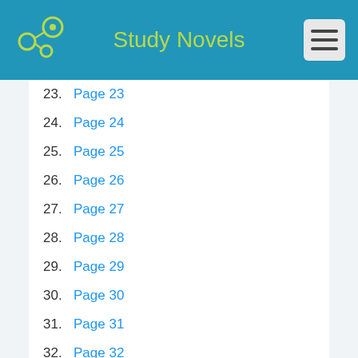Study Novels
23. Page 23
24. Page 24
25. Page 25
26. Page 26
27. Page 27
28. Page 28
29. Page 29
30. Page 30
31. Page 31
32. Page 32
33. Page 33
34. Page 34
35. Page 35